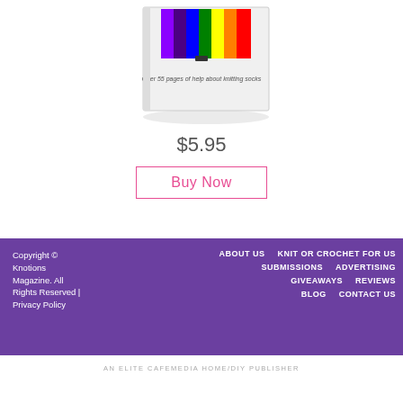[Figure (photo): Book cover image showing colorful yarn skeins on top with text 'Over 55 pages of help about knitting socks']
$5.95
Buy Now
Copyright © Knotions Magazine. All Rights Reserved | Privacy Policy   ABOUT US   KNIT or CROCHET FOR US   SUBMISSIONS   ADVERTISING   GIVEAWAYS   REVIEWS   BLOG   CONTACT US
AN ELITE CAFEMEDIA HOME/DIY PUBLISHER